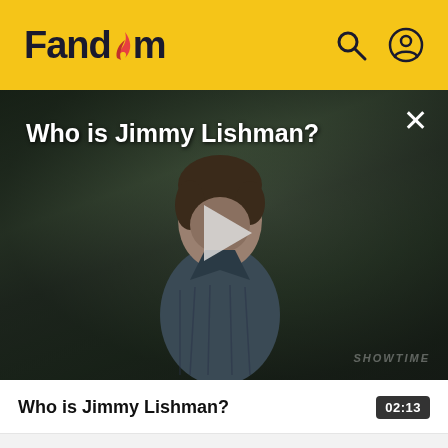Fandom
[Figure (screenshot): Video thumbnail showing a man in a plaid shirt with text 'Who is Jimmy Lishman?' and a play button overlay. SHOWTIME watermark visible in lower right.]
Who is Jimmy Lishman?
02:13